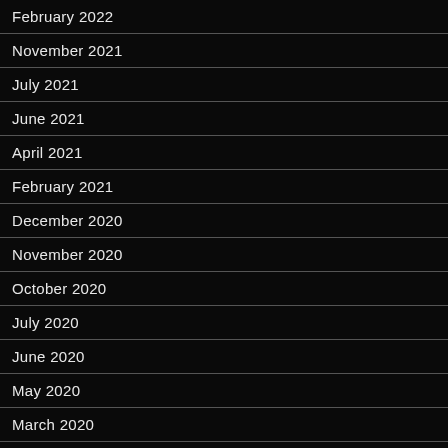February 2022
November 2021
July 2021
June 2021
April 2021
February 2021
December 2020
November 2020
October 2020
July 2020
June 2020
May 2020
March 2020